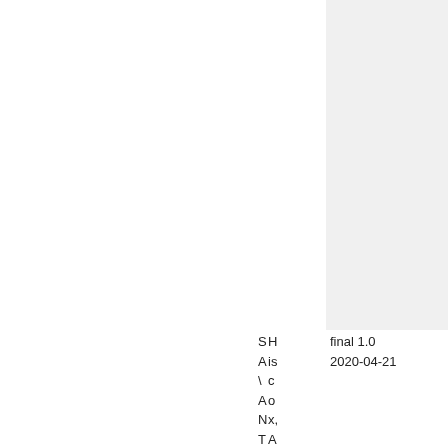| S
A
\
A
N
T
. | H
is
c
o
x,
A
. | final 1.0
2020-04-21 |